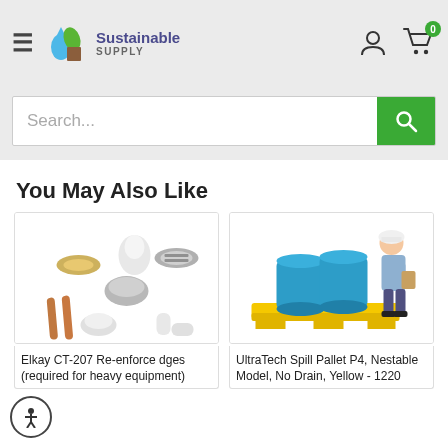Sustainable Supply — navigation header with hamburger menu, logo, user icon, and cart with 0 items
Search...
You May Also Like
[Figure (photo): Product image of Elkay CT-207 plumbing parts including brass nut, chrome drain strainer, copper pipes, and plastic fittings]
Elkay CT-207 Re-enforce dges (required for heavy equipment)
[Figure (photo): UltraTech Spill Pallet P4 Nestable Model No Drain Yellow product shown with a person standing next to two blue drums on a yellow pallet]
UltraTech Spill Pallet P4, Nestable Model, No Drain, Yellow - 1220